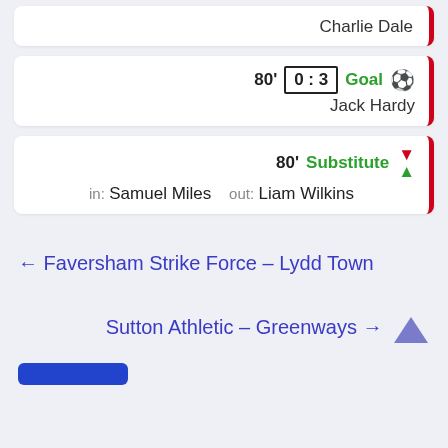Charlie Dale
80' 0:3 Goal — Jack Hardy
80' Substitute in: Samuel Miles out: Liam Wilkins
← Faversham Strike Force – Lydd Town
Sutton Athletic – Greenways →